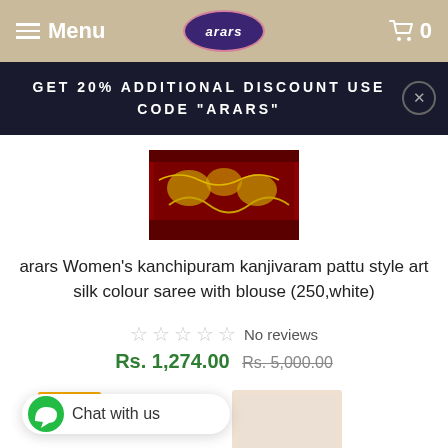Menu | arars | Cart 0
GET 20% ADDITIONAL DISCOUNT USE CODE "ARARS"
[Figure (photo): Product image of a kanchipuram saree in dark red/maroon with golden design pattern]
arars Women's kanchipuram kanjivaram pattu style art silk colour saree with blouse (250,white)
☆☆☆☆☆ No reviews
Rs. 1,274.00 Rs. 5,000.00
Sale
[Figure (photo): Thumbnail of a saree product in light/cream color]
Chat with us